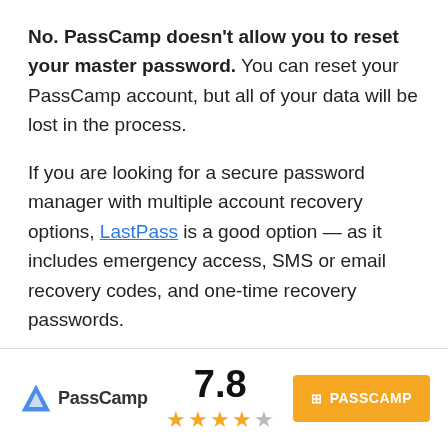No. PassCamp doesn't allow you to reset your master password. You can reset your PassCamp account, but all of your data will be lost in the process.
If you are looking for a secure password manager with multiple account recovery options, LastPass is a good option — as it includes emergency access, SMS or email recovery codes, and one-time recovery passwords.
What is the best PasssCamp plan for me?
[Figure (logo): PassCamp logo with blue mountain/triangle icon and PassCamp text]
7.8 with 4 out of 5 stars rating
PASSCAMP button in orange